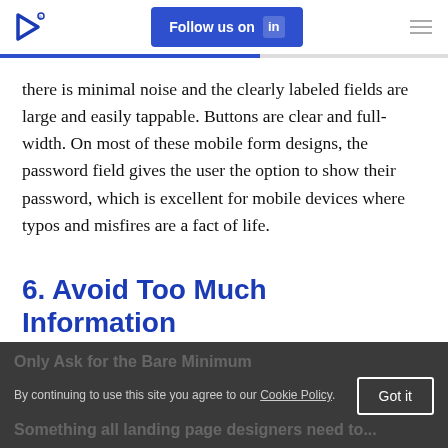Follow us on in
there is minimal noise and the clearly labeled fields are large and easily tappable. Buttons are clear and full-width. On most of these mobile form designs, the password field gives the user the option to show their password, which is excellent for mobile devices where typos and misfires are a fact of life.
6. Avoid Too Much Information
Only Ask for the Bare Minimum
By continuing to use this site you agree to our Cookie Policy. Something all landing page designers need to...
Got it